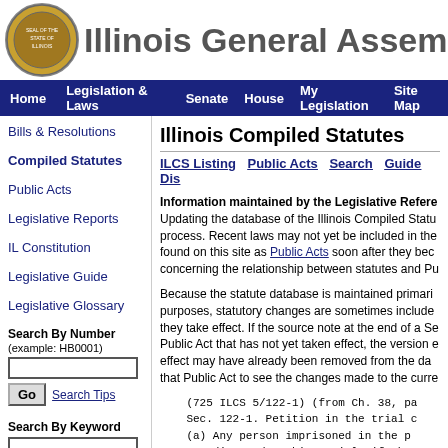Illinois General Assembly
Home | Legislation & Laws | Senate | House | My Legislation | Site Map
Bills & Resolutions
Compiled Statutes
Public Acts
Legislative Reports
IL Constitution
Legislative Guide
Legislative Glossary
Search By Number (example: HB0001)
Search Tips
Search By Keyword
Illinois Compiled Statutes
ILCS Listing | Public Acts | Search | Guide | Dis
Information maintained by the Legislative Refe Updating the database of the Illinois Compiled Statu process. Recent laws may not yet be included in the found on this site as Public Acts soon after they bec concerning the relationship between statutes and Pu
Because the statute database is maintained primari purposes, statutory changes are sometimes include they take effect. If the source note at the end of a Se Public Act that has not yet taken effect, the version e effect may have already been removed from the da that Public Act to see the changes made to the curre
(725 ILCS 5/122-1) (from Ch. 38, pa
    Sec. 122-1. Petition in the trial c
    (a) Any person imprisoned in the p
a proceeding under this Article if the
    (1) in the proceedings which re
conviction there was a substanti